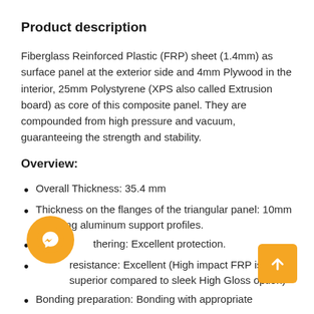Product description
Fiberglass Reinforced Plastic (FRP) sheet (1.4mm) as surface panel at the exterior side and 4mm Plywood in the interior, 25mm Polystyrene (XPS also called Extrusion board) as core of this composite panel. They are compounded from high pressure and vacuum, guaranteeing the strength and stability.
Overview:
Overall Thickness: 35.4 mm
Thickness on the flanges of the triangular panel: 10mm including aluminum support profiles.
[W]eathering: Excellent protection.
[I]mpact resistance: Excellent (High impact FRP is superior compared to sleek High Gloss option)
Bonding preparation: Bonding with appropriate